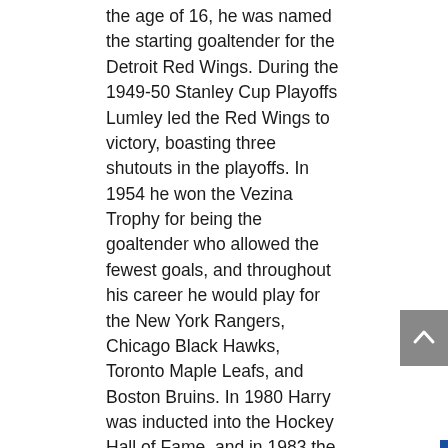the age of 16, he was named the starting goaltender for the Detroit Red Wings. During the 1949-50 Stanley Cup Playoffs Lumley led the Red Wings to victory, boasting three shutouts in the playoffs. In 1954 he won the Vezina Trophy for being the goaltender who allowed the fewest goals, and throughout his career he would play for the New York Rangers, Chicago Black Hawks, Toronto Maple Leafs, and Boston Bruins. In 1980 Harry was inducted into the Hockey Hall of Fame, and in 1983 the Harry Lumley Bayshore Community Centre opened on the eastern shore of Owen Sound Bay— known to locals as “the Lum”.
Hockey Day in Canada, however is about much more than just the players and the game—it’s about coming together as a community and celebrating a Canadian tradition. The four-day event will also highlight Owen Sounds’ well-known cast of off-ice characters, including pilot Billy Bishop and iconic painter Tom Thomson. “How does that happen,” said Ron. “You have the number one fighter pilot, you have the number one painter and you have great hockey players. I don’t know how we are going to fit it all into 12 hours of broadcasting. We need 12 days of